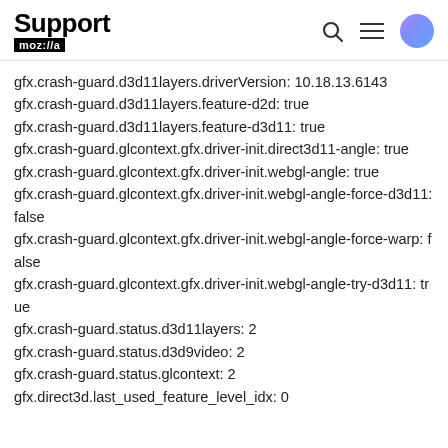Support moz://a
gfx.crash-guard.d3d11layers.driverVersion: 10.18.13.6143
gfx.crash-guard.d3d11layers.feature-d2d: true
gfx.crash-guard.d3d11layers.feature-d3d11: true
gfx.crash-guard.glcontext.gfx.driver-init.direct3d11-angle: true
gfx.crash-guard.glcontext.gfx.driver-init.webgl-angle: true
gfx.crash-guard.glcontext.gfx.driver-init.webgl-angle-force-d3d11: false
gfx.crash-guard.glcontext.gfx.driver-init.webgl-angle-force-warp: false
gfx.crash-guard.glcontext.gfx.driver-init.webgl-angle-try-d3d11: true
gfx.crash-guard.status.d3d11layers: 2
gfx.crash-guard.status.d3d9video: 2
gfx.crash-guard.status.glcontext: 2
gfx.direct3d.last_used_feature_level_idx: 0